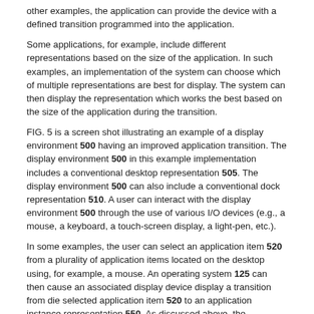other examples, the application can provide the device with a defined transition programmed into the application.
Some applications, for example, include different representations based on the size of the application. In such examples, an implementation of the system can choose which of multiple representations are best for display. The system can then display the representation which works the best based on the size of the application during the transition.
FIG. 5 is a screen shot illustrating an example of a display environment 500 having an improved application transition. The display environment 500 in this example implementation includes a conventional desktop representation 505. The display environment 500 can also include a conventional dock representation 510. A user can interact with the display environment 500 through the use of various I/O devices (e.g., a mouse, a keyboard, a touch-screen display, a light-pen, etc.).
In some examples, the user can select an application item 520 from a plurality of application items located on the desktop using, for example, a mouse. An operating system 125 can then cause an associated display device display a transition from die selected application item 520 to an application instance representation 550. As discussed above, the application instance representation 550 can be controlled by an application engine 135 through the operating system 125.